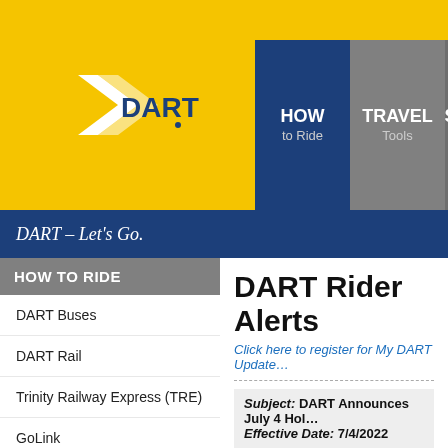[Figure (logo): DART logo on yellow background with navigation tabs: HOW to Ride, TRAVEL Tools, SCHEDULES & Maps]
DART – Let's Go.
HOW TO RIDE
DART Buses
DART Rail
Trinity Railway Express (TRE)
GoLink
Dallas Streetcar
M-Line Trolley
Paratransit Services
Bike Information
Vanpool
DART Rider Alerts
Click here to register for My DART Updates
Subject: DART Announces July 4 Holiday Schedule
Effective Date: 7/4/2022
DART Announces July 4 Holiday Schedule
In observance of Independence Day, DART buses and light rail will operate on a weekend schedule on Monday, July 4. Trinity Railway Express (TRE) will not operate on Monday, July 4.
DART Buses and Light Rail: Open